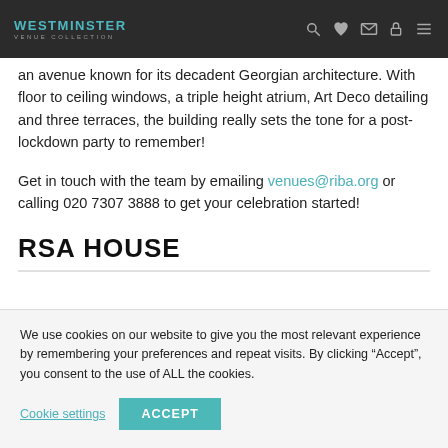WESTMINSTER VENUE COLLECTION
an avenue known for its decadent Georgian architecture. With floor to ceiling windows, a triple height atrium, Art Deco detailing and three terraces, the building really sets the tone for a post-lockdown party to remember!
Get in touch with the team by emailing venues@riba.org or calling 020 7307 3888 to get your celebration started!
RSA HOUSE
We use cookies on our website to give you the most relevant experience by remembering your preferences and repeat visits. By clicking “Accept”, you consent to the use of ALL the cookies.